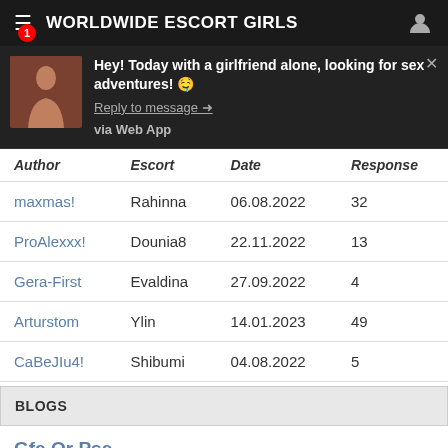WORLDWIDE ESCORT GIRLS
Hey! Today with a girlfriend alone, looking for sex adventures! 🤤
Reply to message →
via Web App
| Author | Escort | Date | Response |
| --- | --- | --- | --- |
| maxmas! | Rahinna | 06.08.2022 | 32 |
| ProAlexxx! | Dounia8 | 22.11.2022 | 13 |
| Gera-First | Evaldina | 27.09.2022 | 4 |
| Arturstom | Ylin | 14.01.2023 | 49 |
| CaBeJIu4! | Shibumi | 04.08.2022 | 5 |
BLOGS
Gfe Or Pse
Sep. 17:56 · Yverdon